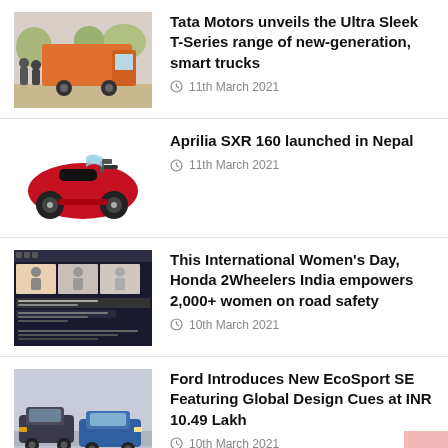[Figure (photo): Tata Motors orange truck with people standing in front, outdoors]
Tata Motors unveils the Ultra Sleek T-Series range of new-generation, smart trucks
11th March 2021
[Figure (photo): Red Aprilia SXR 160 scooter on white background]
Aprilia SXR 160 launched in Nepal
11th March 2021
[Figure (screenshot): Honda 2Wheelers India road safety event screenshot]
This International Women's Day, Honda 2Wheelers India empowers 2,000+ women on road safety
10th March 2021
[Figure (photo): Ford EcoSport cars on a road]
Ford Introduces New EcoSport SE Featuring Global Design Cues at INR 10.49 Lakh
10th March 2021